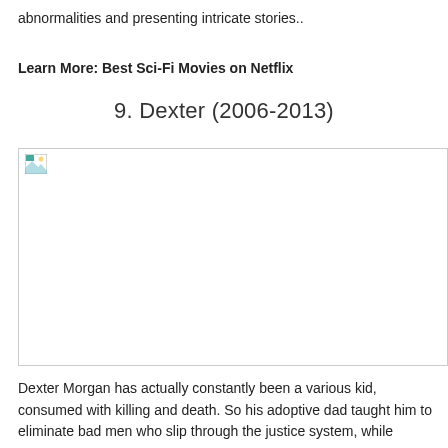abnormalities and presenting intricate stories..
Learn More: Best Sci-Fi Movies on Netflix
9. Dexter (2006-2013)
[Figure (photo): Image placeholder for Dexter TV show]
Dexter Morgan has actually constantly been a various kid, consumed with killing and death. So his adoptive dad taught him to eliminate bad men who slip through the justice system, while